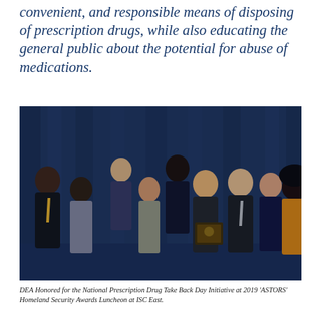convenient, and responsible means of disposing of prescription drugs, while also educating the general public about the potential for abuse of medications.
[Figure (photo): Group of nine people posing for a photo at an awards ceremony. Two people in the center are holding a plaque. The background is a dark blue draped curtain. People are dressed in formal and business attire.]
DEA Honored for the National Prescription Drug Take Back Day Initiative at 2019 'ASTORS' Homeland Security Awards Luncheon at ISC East.